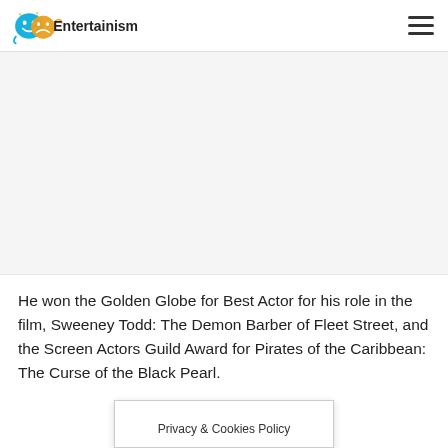Entertainism
[Figure (other): Large advertisement or image placeholder area, light gray background]
He won the Golden Globe for Best Actor for his role in the film, Sweeney Todd: The Demon Barber of Fleet Street, and the Screen Actors Guild Award for Pirates of the Caribbean: The Curse of the Black Pearl.
Privacy & Cookies Policy